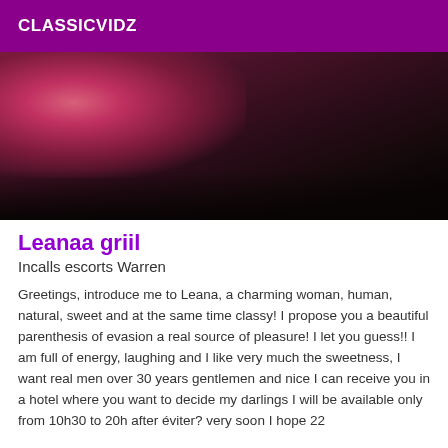CLASSICVIDZ
[Figure (photo): Dark photo with pink/rose toned element in upper left, dark brown and black tones throughout, appears to be a partial body or bed scene.]
Leanaa griil
Incalls escorts Warren
Greetings, introduce me to Leana, a charming woman, human, natural, sweet and at the same time classy! I propose you a beautiful parenthesis of evasion a real source of pleasure! I let you guess!! I am full of energy, laughing and I like very much the sweetness, I want real men over 30 years gentlemen and nice I can receive you in a hotel where you want to decide my darlings I will be available only from 10h30 to 20h after éviter? very soon I hope 22